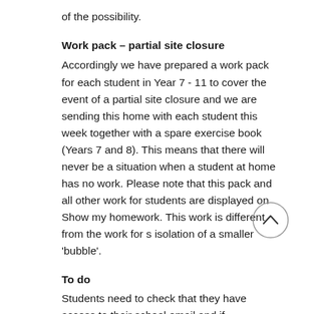of the possibility.
Work pack – partial site closure
Accordingly we have prepared a work pack for each student in Year 7 - 11 to cover the event of a partial site closure and we are sending this home with each student this week together with a spare exercise book (Years 7 and 8). This means that there will never be a situation when a student at home has no work. Please note that this pack and all other work for students are displayed on Show my homework. This work is different from the work for s… isolation of a smaller 'bubble'.
To do
Students need to check that they have access to their school email and if